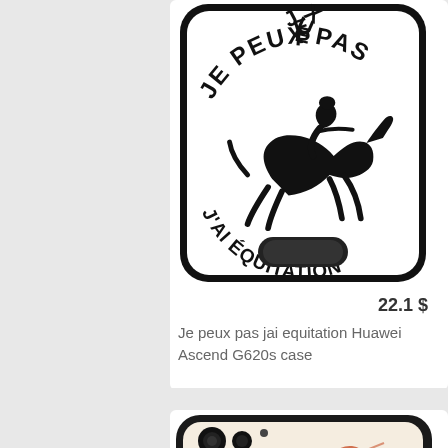[Figure (photo): Phone case product image showing a white Huawei Ascend G620s case with black border, text 'JE PEUX PAS' at top, silhouette of horse and rider jumping, text 'J'AI ÉQUITATION' at bottom, and a camera cutout at the bottom.]
22.1 $
Je peux pas jai equitation Huawei Ascend G620s case
[Figure (photo): Partial view of a second phone case product with dark border, camera module visible, and an abstract orange/red paint splash design on a beige/cream background.]